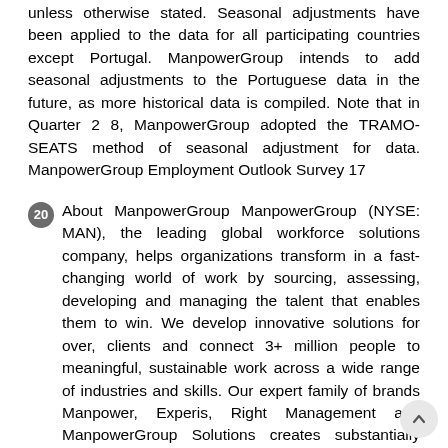unless otherwise stated. Seasonal adjustments have been applied to the data for all participating countries except Portugal. ManpowerGroup intends to add seasonal adjustments to the Portuguese data in the future, as more historical data is compiled. Note that in Quarter 2 8, ManpowerGroup adopted the TRAMO-SEATS method of seasonal adjustment for data. ManpowerGroup Employment Outlook Survey 17
20 About ManpowerGroup ManpowerGroup (NYSE: MAN), the leading global workforce solutions company, helps organizations transform in a fast-changing world of work by sourcing, assessing, developing and managing the talent that enables them to win. We develop innovative solutions for over, clients and connect 3+ million people to meaningful, sustainable work across a wide range of industries and skills. Our expert family of brands Manpower, Experis, Right Management and ManpowerGroup Solutions creates substantially more value for candidates and clients across 8 countries and territories and has done so for nearly 7 years. In 17, ManpowerGroup was named one of the World s Most